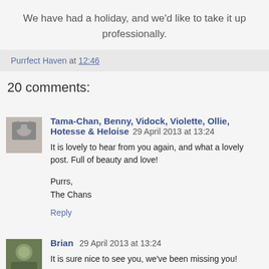We have had a holiday, and we'd like to take it up professionally.
Purrfect Haven at 12:46
20 comments:
Tama-Chan, Benny, Vidock, Violette, Ollie, Hotesse & Heloise 29 April 2013 at 13:24
It is lovely to hear from you again, and what a lovely post. Full of beauty and love!

Purrs,
The Chans
Reply
Brian 29 April 2013 at 13:24
It is sure nice to see you, we've been missing you!